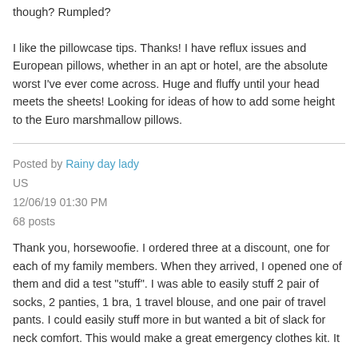though? Rumpled?

I like the pillowcase tips. Thanks! I have reflux issues and European pillows, whether in an apt or hotel, are the absolute worst I've ever come across. Huge and fluffy until your head meets the sheets! Looking for ideas of how to add some height to the Euro marshmallow pillows.
Posted by Rainy day lady
US
12/06/19 01:30 PM
68 posts
Thank you, horsewoofie. I ordered three at a discount, one for each of my family members. When they arrived, I opened one of them and did a test "stuff". I was able to easily stuff 2 pair of socks, 2 panties, 1 bra, 1 travel blouse, and one pair of travel pants. I could easily stuff more in but wanted a bit of slack for neck comfort. This would make a great emergency clothes kit. It